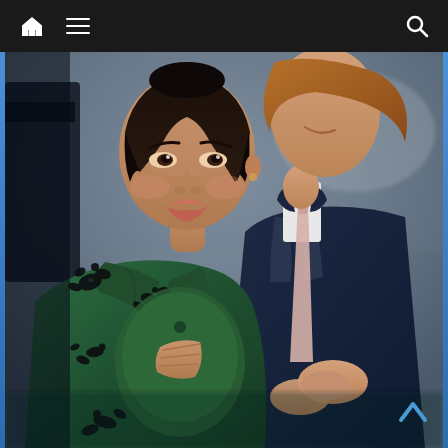Navigation bar with home, menu, and search icons
[Figure (photo): A pregnant woman in a dark green wool coat with black floral embroidery smiles warmly. Beside her stands a tall red-haired man in a navy blue suit with a pale pink tie, hands clasped, partially visible. The setting appears to be an outdoor arrival at a public event.]